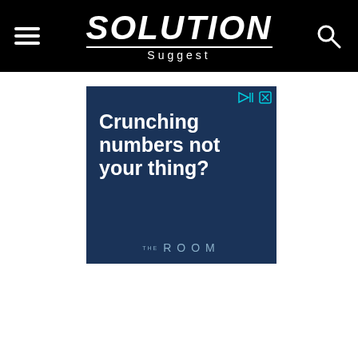Solution Suggest
[Figure (other): Advertisement banner with dark blue background showing text 'Crunching numbers not your thing?' and 'THE ROOM' branding at the bottom. Ad controls (play and close buttons) visible in top right corner.]